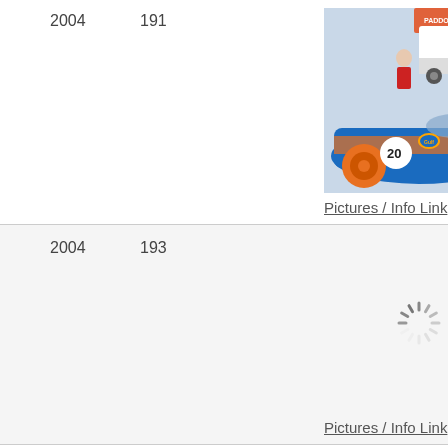| Year | Number | Image | Link |
| --- | --- | --- | --- |
| 2004 | 191 | [photo of blue race car #20] | Pictures / Info Link |
| 2004 | 193 | [loading spinner] | Pictures / Info Link |
| 2004 | 195 | [loading spinner partial] |  |